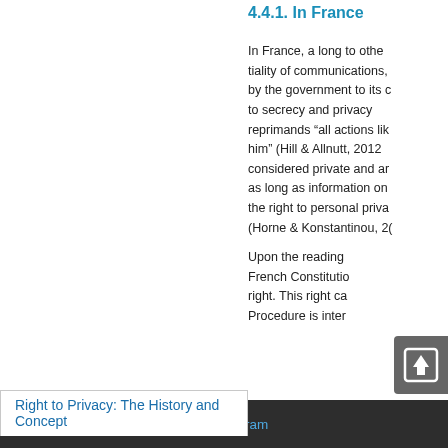4.4.1. In France
In France, a long to othe tiality of communications, by the government to its c to secrecy and privacy reprimands “all actions lik him” (Hill & Allnutt, 2012 considered private and ar as long as information on the right to personal priva (Horne & Konstantinou, 2(
Upon the reading French Constitutio right. This right ca Procedure is inter
Top
ABSTRACT
Introduction
Right to Privacy: The History and Concept
The Aim and Scope of Privacy
E-Mail Alert    Join Peer-Review Program